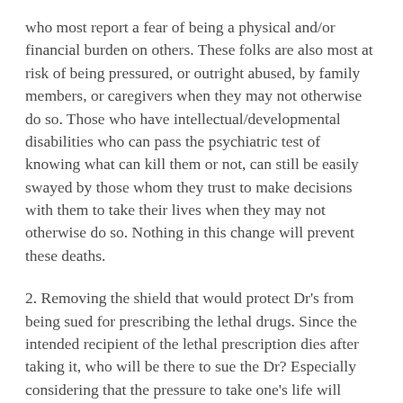who most report a fear of being a physical and/or financial burden on others. These folks are also most at risk of being pressured, or outright abused, by family members, or caregivers when they may not otherwise do so. Those who have intellectual/developmental disabilities who can pass the psychiatric test of knowing what can kill them or not, can still be easily swayed by those whom they trust to make decisions with them to take their lives when they may not otherwise do so. Nothing in this change will prevent these deaths.
2. Removing the shield that would protect Dr's from being sued for prescribing the lethal drugs. Since the intended recipient of the lethal prescription dies after taking it, who will be there to sue the Dr? Especially considering that the pressure to take one's life will likely be coming from a family member, or caregiver.
3. Adding a requirement for a mental health evaluation.